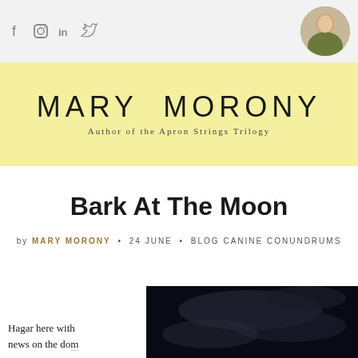Social icons: f, instagram, in, twitter. Profile photo top right.
MARY MORONY
Author of the Apron Strings Trilogy
Bark At The Moon
by MARY MORONY • 24 JUNE • BLOG CANINE CONUNDRUMS
Hagar here with news on the do...
[Figure (photo): Dark moody photo with cloudy/smoky atmosphere, very dark tones]